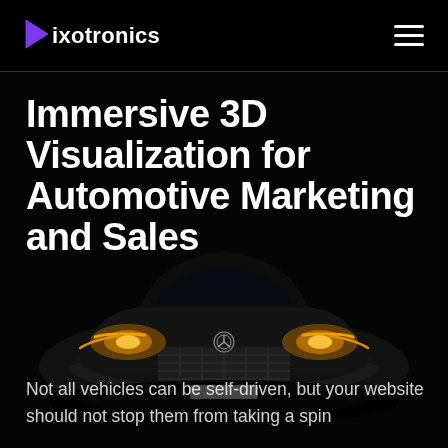Pixotronics
Immersive 3D Visualization for Automotive Marketing and Sales
[Figure (photo): Front view of a dark luxury Mercedes-Benz sedan with illuminated golden headlights on a black background]
Not all vehicles can be self-driven, but your website should not stop them from taking a spin